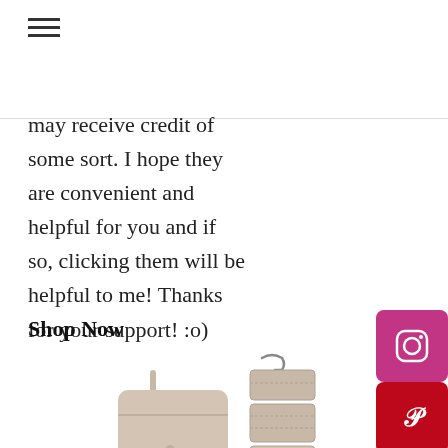≡ (hamburger menu icon)
may receive credit of some sort. I hope they are convenient and helpful for you and if so, clicking them will be helpful to me! Thanks for your support! :o)
Shop Now
[Figure (photo): A pink/beige travel toiletry bag shown in two views: closed as a handbag on the left, and open/unfolded showing multiple compartments on the right with a hanging hook at the top.]
[Figure (logo): Social media icons on the right side: Instagram (pink/magenta), Pinterest (dark red), Email/envelope (red-orange), YouTube (red)]